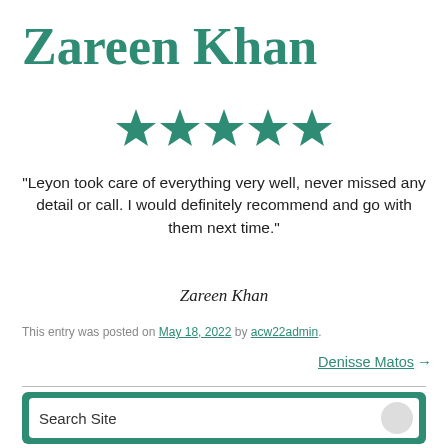Zareen Khan
[Figure (other): Five green filled star icons representing a 5-star rating]
“Leyon took care of everything very well, never missed any detail or call. I would definitely recommend and go with them next time.”
Zareen Khan
This entry was posted on May 18, 2022 by acw22admin.
Denisse Matos →
Search Site